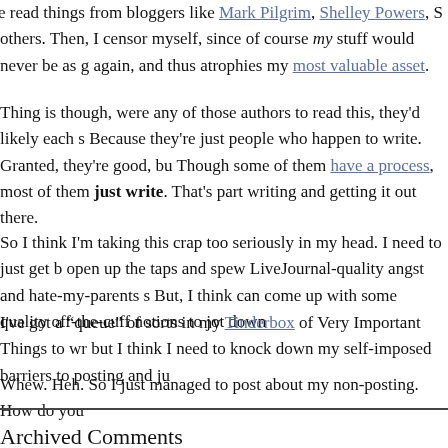things I've read things from bloggers like Mark Pilgrim, Shelley Powers, S others. Then, I censor myself, since of course my stuff would never be as g again, and thus atrophies my most valuable asset.
Thing is though, were any of those authors to read this, they'd likely each s Because they're just people who happen to write. Granted, they're good, bu Though some of them have a process, most of them just write. That's part writing and getting it out there.
So I think I'm taking this crap too seriously in my head. I need to just get b open up the taps and spew LiveJournal-quality angst and hate-my-parents s But, I think can come up with some quality off-the-cuff notions to jot down
I've got a "queue" of sorts in my Tinderbox of Very Important Things to wr but I think I need to knock down my self-imposed barriers to posting and ju
Whew. Heh. So I just managed to post about my non-posting. How do you
Archived Comments